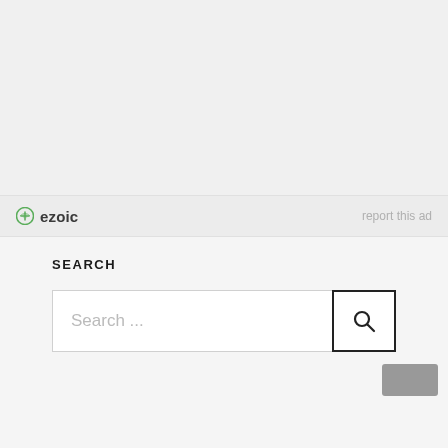[Figure (other): Ezoic advertisement placeholder area, light gray background]
ezoic   report this ad
SEARCH
[Figure (other): Search bar with placeholder text 'Search ...' and a search icon button]